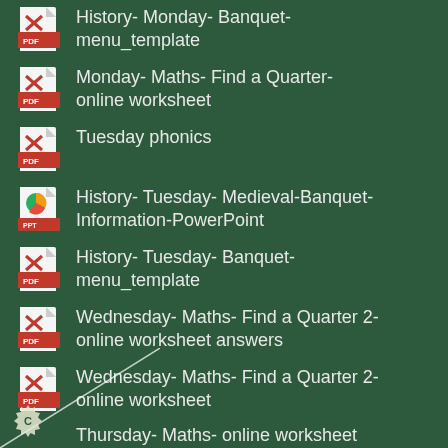History- Monday- Banquet-menu_template
Monday- Maths- Find a Quarter-online worksheet
Tuesday phonics
History- Tuesday- Medieval-Banquet-Information-PowerPoint
History- Tuesday- Banquet-menu_template
Wednesday- Maths- Find a Quarter 2-online worksheet answers
Wednesday- Maths- Find a Quarter 2-online worksheet
Thursday- Maths- online worksheet